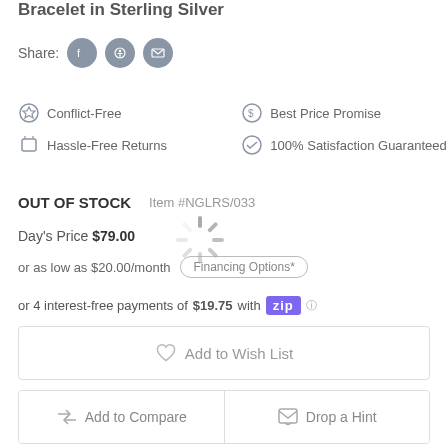Bracelet in Sterling Silver
Share:
Conflict-Free   Best Price Promise   Hassle-Free Returns   100% Satisfaction Guaranteed
OUT OF STOCK   Item #NGLRS/033
Day's Price $79.00
or as low as $20.00/month   Financing Options*
or 4 interest-free payments of $19.75 with Zip
Add to Wish List
Add to Compare   Drop a Hint